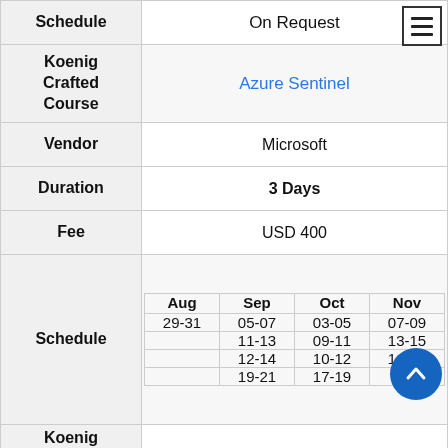| Field | Value |
| --- | --- |
| Schedule | On Request |
| Koenig Crafted Course | Azure Sentinel |
| Vendor | Microsoft |
| Duration | 3 Days |
| Fee | USD 400 |
| Schedule | Aug 29-31 | Sep 05-07, 11-13, 12-14, 19-21 | Oct 03-05, 09-11, 10-12, 17-19 | Nov 07-09, 13-15, 14-16, 21-... |
| Koenig Crafted Course | Microsoft Project 2019 |